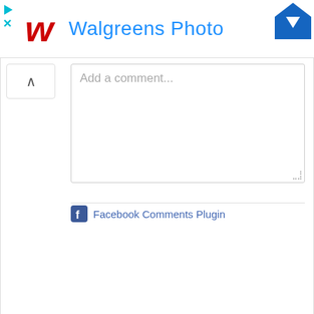[Figure (screenshot): Walgreens Photo advertisement banner with red W logo and blue title text, with a blue arrow icon in top right corner and close/play controls on left]
Add a comment...
Facebook Comments Plugin